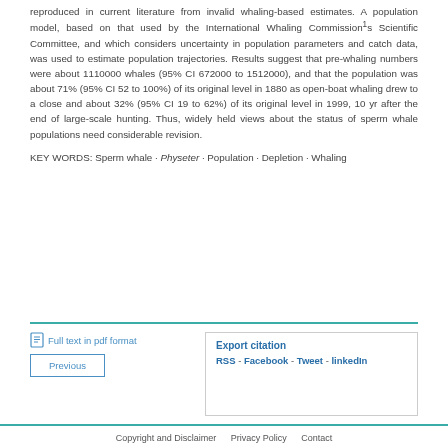reproduced in current literature from invalid whaling-based estimates. A population model, based on that used by the International Whaling Commission¹s Scientific Committee, and which considers uncertainty in population parameters and catch data, was used to estimate population trajectories. Results suggest that pre-whaling numbers were about 1110000 whales (95% CI 672000 to 1512000), and that the population was about 71% (95% CI 52 to 100%) of its original level in 1880 as open-boat whaling drew to a close and about 32% (95% CI 19 to 62%) of its original level in 1999, 10 yr after the end of large-scale hunting. Thus, widely held views about the status of sperm whale populations need considerable revision.
KEY WORDS: Sperm whale · Physeter · Population · Depletion · Whaling
Full text in pdf format
Export citation
RSS - Facebook - Tweet - linkedIn
Previous
Copyright and Disclaimer   Privacy Policy   Contact